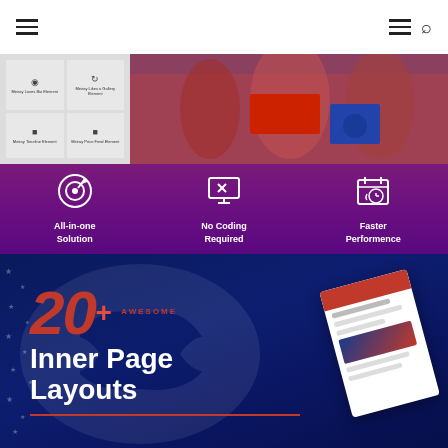Navigation bar with hamburger menu and search icon
[Figure (screenshot): Website builder interface screenshot showing a 2x2 grid of icons with labels overlaid on a purple/maroon gradient background with a crowd photo]
All-in-one Solution
No Coding Required
Faster Performence
[Figure (infographic): Dark blue section with '20+ AWESOME Inner Page Layouts' text in white and red, with a device mockup showing a website layout, eagle watermark in background]